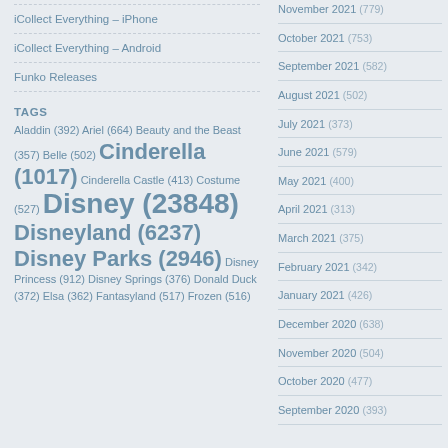iCollect Everything – iPhone
iCollect Everything – Android
Funko Releases
TAGS
Aladdin (392) Ariel (664) Beauty and the Beast (357) Belle (502) Cinderella (1017) Cinderella Castle (413) Costume (527) Disney (23848) Disneyland (6237) Disney Parks (2946) Disney Princess (912) Disney Springs (376) Donald Duck (372) Elsa (362) Fantasyland (517) Frozen (516)
November 2021 (779)
October 2021 (753)
September 2021 (582)
August 2021 (502)
July 2021 (373)
June 2021 (579)
May 2021 (400)
April 2021 (313)
March 2021 (375)
February 2021 (342)
January 2021 (426)
December 2020 (638)
November 2020 (504)
October 2020 (477)
September 2020 (393)